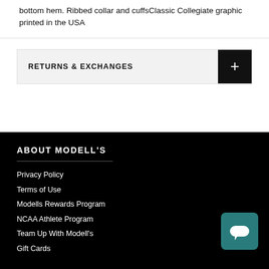bottom hem. Ribbed collar and cuffsClassic Collegiate graphic printed in the USA
RETURNS & EXCHANGES
ABOUT MODELL'S
Privacy Policy
Terms of Use
Modells Rewards Program
NCAA Athlete Program
Team Up With Modell's
Gift Cards
Hi. Need any help?